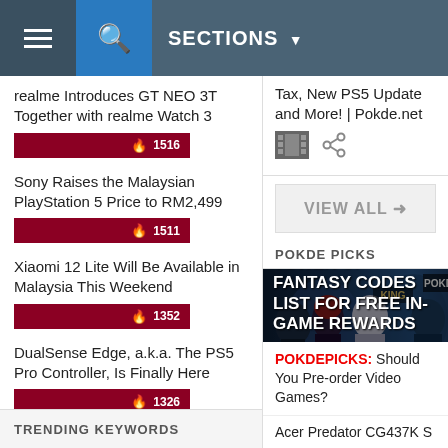☰ 🔍 SECTIONS ▾
realme Introduces GT NEO 3T Together with realme Watch 3
🔥 1516
Sony Raises the Malaysian PlayStation 5 Price to RM2,499
🔥 1511
Xiaomi 12 Lite Will Be Available in Malaysia This Weekend
🔥 1352
DualSense Edge, a.k.a. The PS5 Pro Controller, Is Finally Here
🔥 1326
TRENDING KEYWORDS
Tax, New PS5 Update and More! | Pokde.net
VIEW ALL ➤
POKDE PICKS
[Figure (photo): Tower of Fantasy game promotional image with anime characters]
TOWER OF FANTASY CODES LIST FOR FREE IN-GAME REWARDS
POKDEPICKS: Should You Pre-order Video Games?
Acer Predator CG437K S